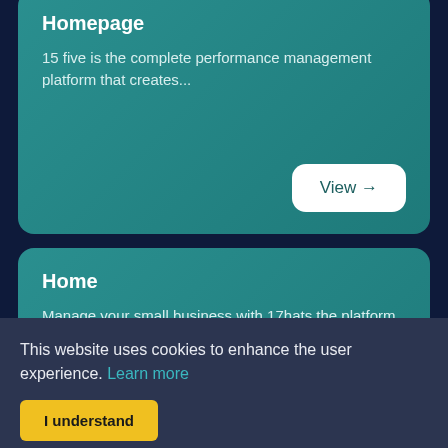Homepage
15 five is the complete performance management platform that creates...
View →
Home
Manage your small business with 17hats the platform that grows with you...
This website uses cookies to enhance the user experience. Learn more
I understand